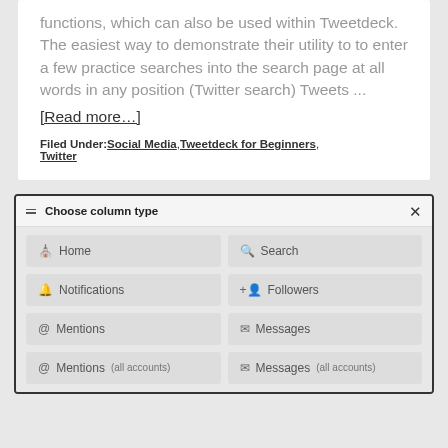functions, which can also be used within Tweetdeck. The easiest way to demonstrate their utility to to enter a few practice searches into the search page at all words in any position (Twitter search) Tweets ...
[Read more...]
Filed Under: Social Media, Tweetdeck for Beginners, Twitter
[Figure (screenshot): Screenshot of a Tweetdeck 'Choose column type' dialog box showing a grid of column type options: Home, Search, Notifications, Followers, Mentions, Messages, Mentions (all accounts), Messages (all accounts)]